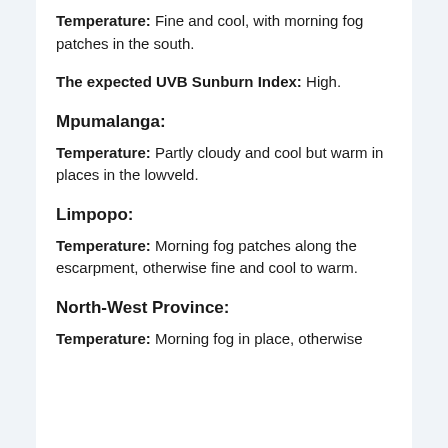Temperature: Fine and cool, with morning fog patches in the south.
The expected UVB Sunburn Index: High.
Mpumalanga:
Temperature: Partly cloudy and cool but warm in places in the lowveld.
Limpopo:
Temperature: Morning fog patches along the escarpment, otherwise fine and cool to warm.
North-West Province:
Temperature: Morning fog in place, otherwise